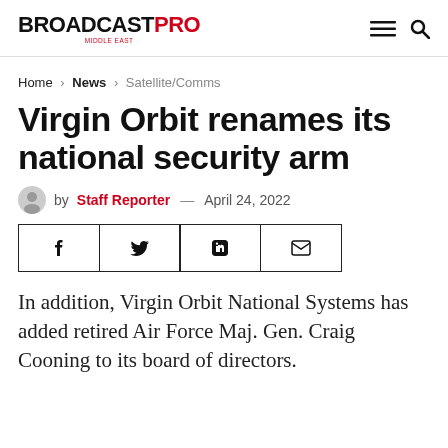BROADCASTPRO
Home > News > Satellite/Comms
Virgin Orbit renames its national security arm
by Staff Reporter — April 24, 2022
[Figure (other): Social share buttons: Facebook, Twitter, LinkedIn, Email]
In addition, Virgin Orbit National Systems has added retired Air Force Maj. Gen. Craig Cooning to its board of directors.